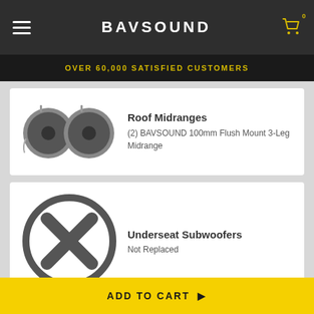BAVSOUND
OVER 60,000 SATISFIED CUSTOMERS
[Figure (photo): Two BAVSOUND 100mm Flush Mount 3-Leg Midrange speakers]
Roof Midranges
(2) BAVSOUND 100mm Flush Mount 3-Leg Midrange
[Figure (illustration): Circle with X mark indicating not replaced]
Underseat Subwoofers
Not Replaced
ADD TO CART ▶